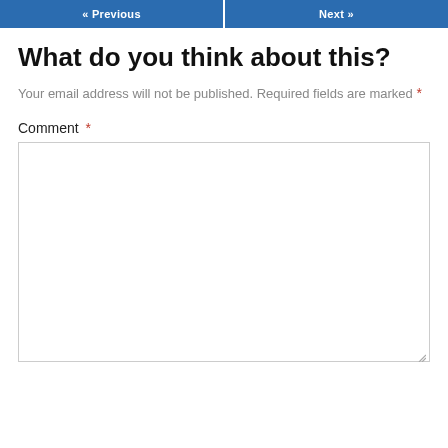« Previous   Next »
What do you think about this?
Your email address will not be published. Required fields are marked *
Comment *